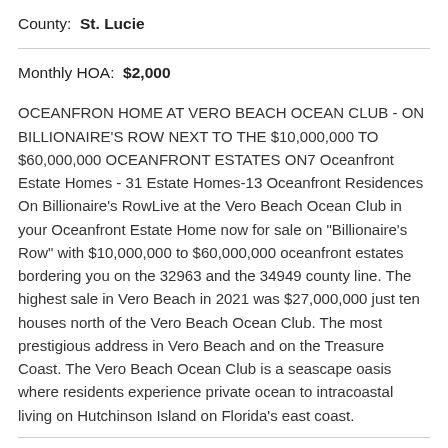County: St. Lucie
Monthly HOA: $2,000
OCEANFRON HOME AT VERO BEACH OCEAN CLUB - ON BILLIONAIRE'S ROW NEXT TO THE $10,000,000 TO $60,000,000 OCEANFRONT ESTATES ON7 Oceanfront Estate Homes - 31 Estate Homes-13 Oceanfront Residences On Billionaire's RowLive at the Vero Beach Ocean Club in your Oceanfront Estate Home now for sale on "Billionaire's Row" with $10,000,000 to $60,000,000 oceanfront estates bordering you on the 32963 and the 34949 county line. The highest sale in Vero Beach in 2021 was $27,000,000 just ten houses north of the Vero Beach Ocean Club. The most prestigious address in Vero Beach and on the Treasure Coast. The Vero Beach Ocean Club is a seascape oasis where residents experience private ocean to intracoastal living on Hutchinson Island on Florida's east coast.
MORTGAGE CALCULATOR